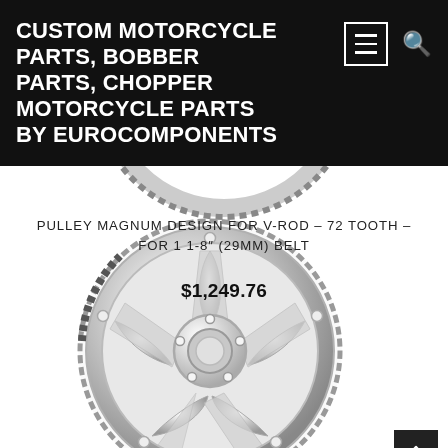CUSTOM MOTORCYCLE PARTS, BOBBER PARTS, CHOPPER MOTORCYCLE PARTS BY EUROCOMPONENTS
PULLEY MAGNUM DESIGN FOR V-ROD – 72 TOOTH – FOR 1 1-8″ (29MM) BELT
$1,249.76
[Figure (photo): Chrome motorcycle belt pulley with magnum design, 72 tooth, showing 5-spoke pattern, toothed belt interface on outer rim, and center hub with mounting holes. Partial top view and full lower view of the same polished chrome pulley component.]